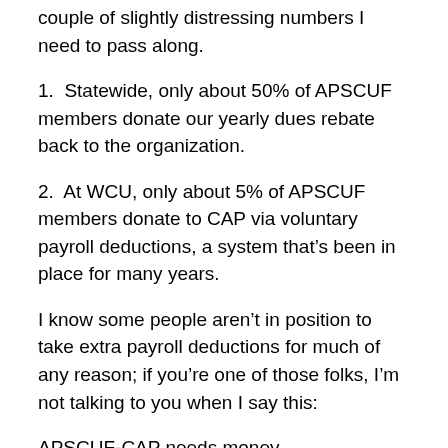couple of slightly distressing numbers I need to pass along.
1.  Statewide, only about 50% of APSCUF members donate our yearly dues rebate back to the organization.
2.  At WCU, only about 5% of APSCUF members donate to CAP via voluntary payroll deductions, a system that’s been in place for many years.
I know some people aren’t in position to take extra payroll deductions for much of any reason; if you’re one of those folks, I’m not talking to you when I say this:
APSCUF-CAP needs money.
Brad Wilson, in his report, made what struck me as the obvious version of the point.  Right now, Governor Corbett